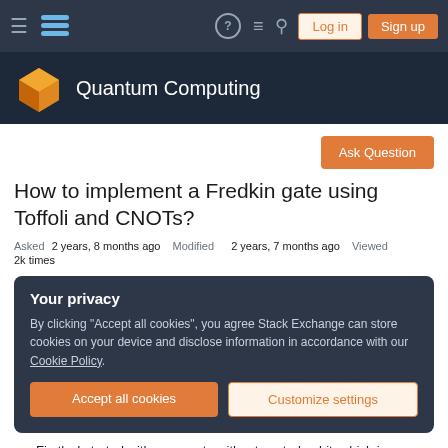Quantum Computing Stack Exchange — Log in | Sign up
How to implement a Fredkin gate using Toffoli and CNOTs?
Asked 2 years, 8 months ago   Modified 2 years, 7 months ago   Viewed 2k times
Your privacy
By clicking "Accept all cookies", you agree Stack Exchange can store cookies on your device and disclose information in accordance with our Cookie Policy.
Accept all cookies   Customize settings
Firstly, I started with swap gate without control qubit, which is implemented with CNOT, following b...